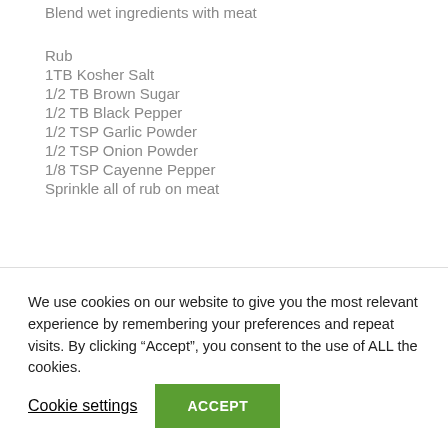Blend wet ingredients with meat
Rub
1TB Kosher Salt
1/2 TB Brown Sugar
1/2 TB Black Pepper
1/2 TSP Garlic Powder
1/2 TSP Onion Powder
1/8 TSP Cayenne Pepper
Sprinkle all of rub on meat
We use cookies on our website to give you the most relevant experience by remembering your preferences and repeat visits. By clicking “Accept”, you consent to the use of ALL the cookies.
Cookie settings
ACCEPT